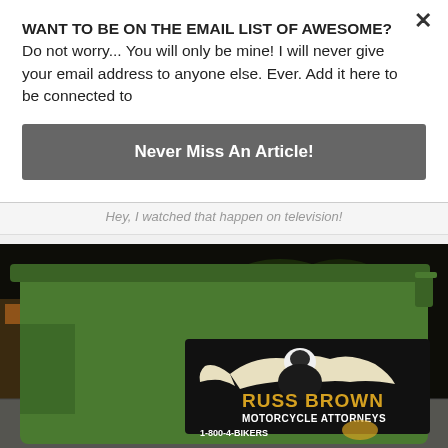WANT TO BE ON THE EMAIL LIST OF AWESOME? Do not worry... You will only be mine! I will never give your email address to anyone else. Ever. Add it here to be connected to
Never Miss An Article!
Hey, I watched that happen on television!
[Figure (photo): Nighttime photo of a green trash/recycling bin with a Russ Brown Motorcycle Attorneys advertisement sticker on it. The sticker shows an eagle logo and reads RUSS BROWN MOTORCYCLE ATTORNEYS 1-800-4-BIKERS. Background shows a parking lot at night.]